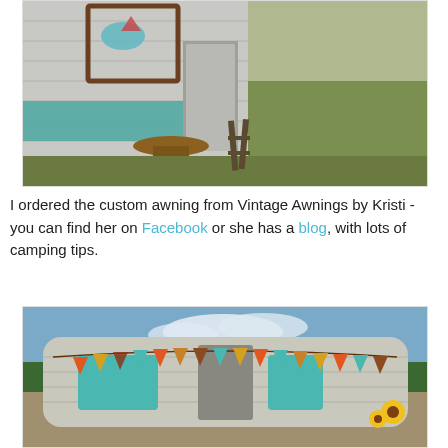[Figure (photo): A vintage trailer/camper with teal decorative panels and a wooden spool table in front, parked in a grassy field.]
I ordered the custom awning from Vintage Awnings by Kristi - you can find her on Facebook or she has a blog, with lots of camping tips.
[Figure (photo): A vintage trailer/camper decorated with colorful bunting flags in orange, teal, and brown patterns, with sunflowers on the side.]